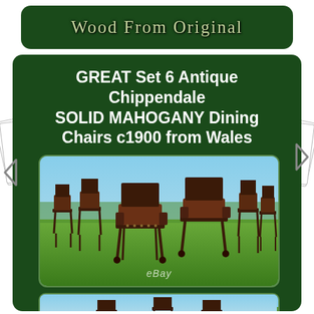Wood From Original
GREAT Set 6 Antique Chippendale SOLID MAHOGANY Dining Chairs c1900 from Wales
[Figure (photo): Set of 6 antique Chippendale solid mahogany dining chairs photographed outdoors on grass with blue sky background, eBay watermark visible]
[Figure (photo): Second photo showing the antique chairs from a different angle, partially visible at bottom of page]